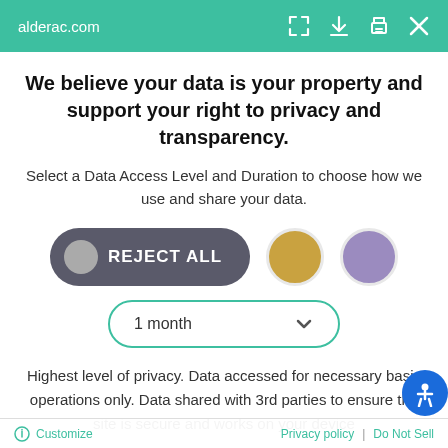alderac.com
We believe your data is your property and support your right to privacy and transparency.
Select a Data Access Level and Duration to choose how we use and share your data.
[Figure (infographic): Three consent level buttons: REJECT ALL (dark gray pill button with gray circle), a gold circle button, and a purple circle button]
[Figure (infographic): Dropdown selector showing '1 month' with a teal border and chevron arrow]
Highest level of privacy. Data accessed for necessary basic operations only. Data shared with 3rd parties to ensure the site is secure and works on your device
Save my preferences
Customize   Privacy policy | Do Not Sell